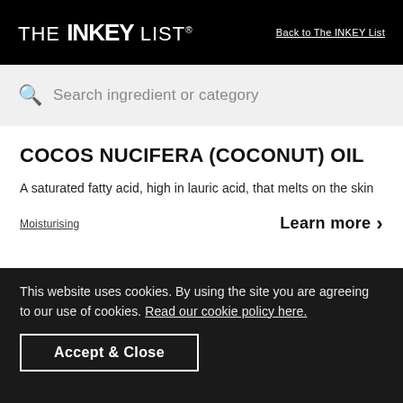THE INKEY LIST — Back to The INKEY List
Search ingredient or category
COCOS NUCIFERA (COCONUT) OIL
A saturated fatty acid, high in lauric acid, that melts on the skin
Moisturising   Learn more >
This website uses cookies. By using the site you are agreeing to our use of cookies. Read our cookie policy here.
Accept & Close